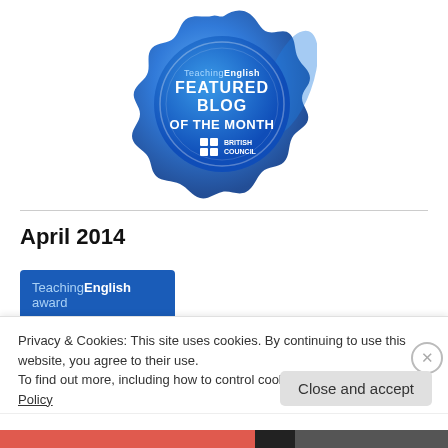[Figure (logo): Blue wax seal badge with text: TeachingEnglish FEATURED BLOG OF THE MONTH, British Council logo]
April 2014
[Figure (other): Blue TeachingEnglish award card: 'TeachingEnglish award' with subtitle 'Best blog coverage of']
Privacy & Cookies: This site uses cookies. By continuing to use this website, you agree to their use.
To find out more, including how to control cookies, see here: Cookie Policy
Close and accept